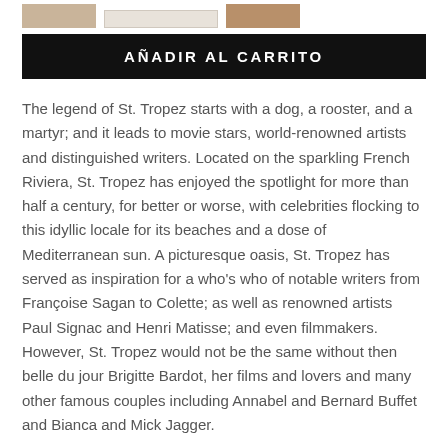[Figure (other): Three color swatches: tan, light beige, and brown]
AÑADIR AL CARRITO
The legend of St. Tropez starts with a dog, a rooster, and a martyr; and it leads to movie stars, world-renowned artists and distinguished writers. Located on the sparkling French Riviera, St. Tropez has enjoyed the spotlight for more than half a century, for better or worse, with celebrities flocking to this idyllic locale for its beaches and a dose of Mediterranean sun. A picturesque oasis, St. Tropez has served as inspiration for a who's who of notable writers from Françoise Sagan to Colette; as well as renowned artists Paul Signac and Henri Matisse; and even filmmakers. However, St. Tropez would not be the same without then belle du jour Brigitte Bardot, her films and lovers and many other famous couples including Annabel and Bernard Buffet and Bianca and Mick Jagger.
St. Tropez Soleil guides the reader through its storied past